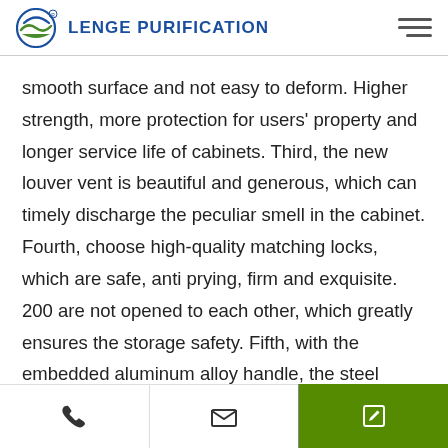LENGE PURIFICATION
smooth surface and not easy to deform. Higher strength, more protection for users' property and longer service life of cabinets. Third, the new louver vent is beautiful and generous, which can timely discharge the peculiar smell in the cabinet. Fourth, choose high-quality matching locks, which are safe, anti prying, firm and exquisite. 200 are not opened to each other, which greatly ensures the storage safety. Fifth, with the embedded aluminum alloy handle, the steel locker wants more than beauty. At the same time, it gives you a comfortable feeling. The handle
Phone | Email | Edit